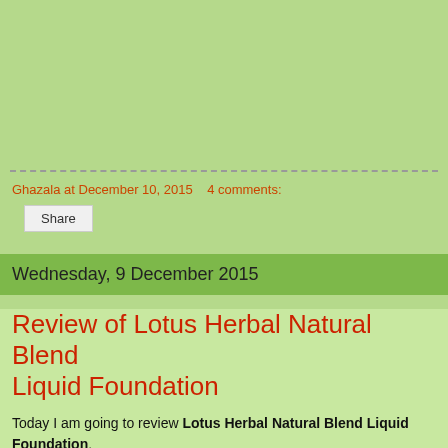Ghazala at December 10, 2015   4 comments:
Share
Wednesday, 9 December 2015
Review of Lotus Herbal Natural Blend Liquid Foundation
Today I am going to review Lotus Herbal Natural Blend Liquid Foundation. The foundation comes in a 30 ml cute bottle with a dispenser